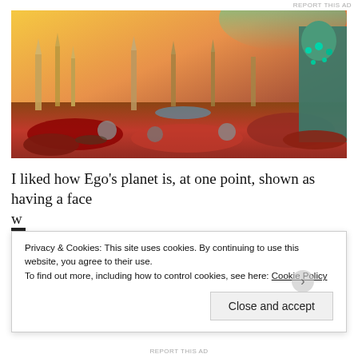REPORT THIS AD
[Figure (illustration): Fantasy landscape showing alien or fictional planet with colorful spires, towers, lush vegetation in warm orange/yellow sky with teal aurora, large ornate statue on right side, skeletal figures in foreground among red foliage.]
I liked how Ego’s planet is, at one point, shown as having a face
Privacy & Cookies: This site uses cookies. By continuing to use this website, you agree to their use.
To find out more, including how to control cookies, see here: Cookie Policy
Close and accept
REPORT THIS AD